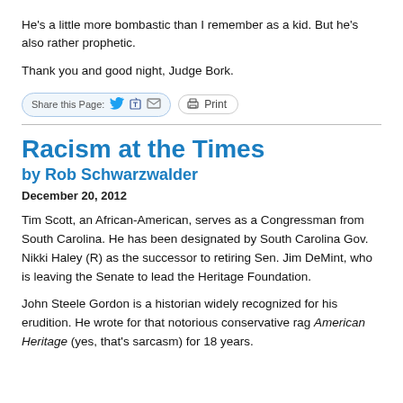He's a little more bombastic than I remember as a kid. But he's also rather prophetic.
Thank you and good night, Judge Bork.
[Figure (other): Share this Page bar with Twitter, Facebook, email icons and a Print button]
Racism at the Times
by Rob Schwarzwalder
December 20, 2012
Tim Scott, an African-American, serves as a Congressman from South Carolina. He has been designated by South Carolina Gov. Nikki Haley (R) as the successor to retiring Sen. Jim DeMint, who is leaving the Senate to lead the Heritage Foundation.
John Steele Gordon is a historian widely recognized for his erudition. He wrote for that notorious conservative rag American Heritage (yes, that's sarcasm) for 18 years.